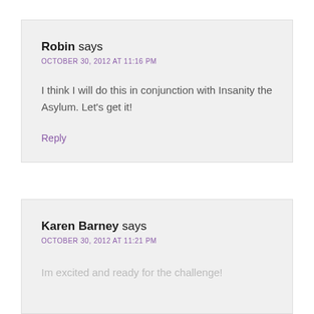Robin says
OCTOBER 30, 2012 AT 11:16 PM
I think I will do this in conjunction with Insanity the Asylum. Let's get it!
Reply
Karen Barney says
OCTOBER 30, 2012 AT 11:21 PM
Im excited and ready for the challenge!